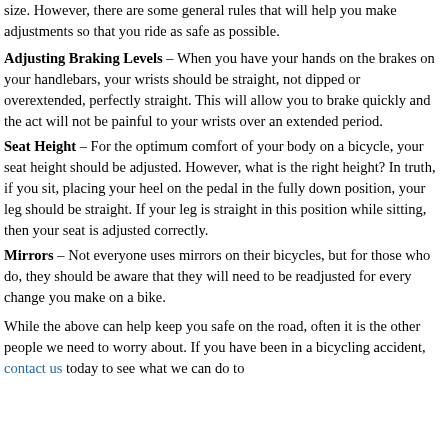size. However, there are some general rules that will help you make adjustments so that you ride as safe as possible.
Adjusting Braking Levels – When you have your hands on the brakes on your handlebars, your wrists should be straight, not dipped or overextended, perfectly straight. This will allow you to brake quickly and the act will not be painful to your wrists over an extended period.
Seat Height – For the optimum comfort of your body on a bicycle, your seat height should be adjusted. However, what is the right height? In truth, if you sit, placing your heel on the pedal in the fully down position, your leg should be straight. If your leg is straight in this position while sitting, then your seat is adjusted correctly.
Mirrors – Not everyone uses mirrors on their bicycles, but for those who do, they should be aware that they will need to be readjusted for every change you make on a bike.
While the above can help keep you safe on the road, often it is the other people we need to worry about. If you have been in a bicycling accident, contact us today to see what we can do to